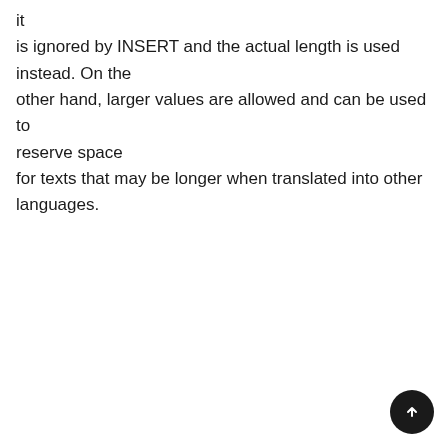it is ignored by INSERT and the actual length is used instead. On the other hand, larger values are allowed and can be used to reserve space for texts that may be longer when translated into other languages.